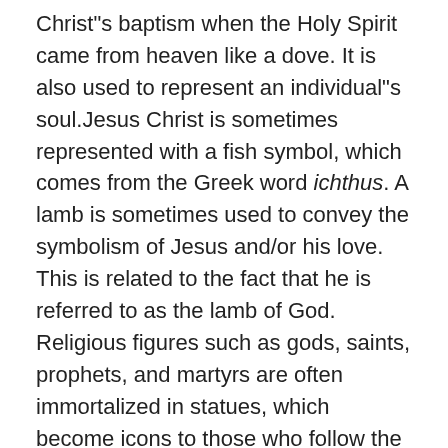Christ"s baptism when the Holy Spirit came from heaven like a dove. It is also used to represent an individual"s soul.Jesus Christ is sometimes represented with a fish symbol, which comes from the Greek word ichthus. A lamb is sometimes used to convey the symbolism of Jesus and/or his love. This is related to the fact that he is referred to as the lamb of God. Religious figures such as gods, saints, prophets, and martyrs are often immortalized in statues, which become icons to those who follow the faith with which they are associated. Divine beings are often depicted in human form in religious iconography, whereas demons or even spirits are portrayed as menacing animals. Images of books and tablets are used to reflect the word of God in religious iconography. In faiths that subscribe to the Old Testament, apples are symbolic in religious iconography. They symbolize both original sin and temptation offered by Satan. A halo, which is a circle...